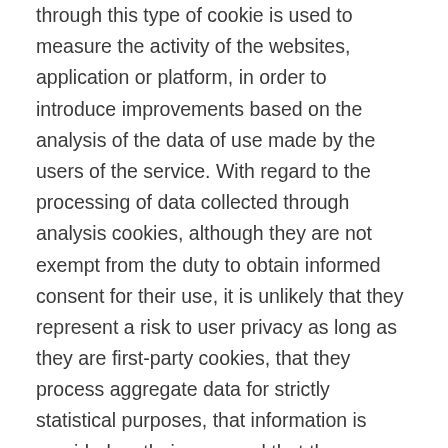through this type of cookie is used to measure the activity of the websites, application or platform, in order to introduce improvements based on the analysis of the data of use made by the users of the service. With regard to the processing of data collected through analysis cookies, although they are not exempt from the duty to obtain informed consent for their use, it is unlikely that they represent a risk to user privacy as long as they are first-party cookies, that they process aggregate data for strictly statistical purposes, that information is provided on their uses and that the possibility is included for users to express their refusal of their use.   – Behavioral advertising cookies: are those that store information on the behavior of users obtained through continuous observation of their browsing habits, which allows the development of a specific profile to display advertising based on it.   Depending on the time they remain activated in the terminal equipment we can